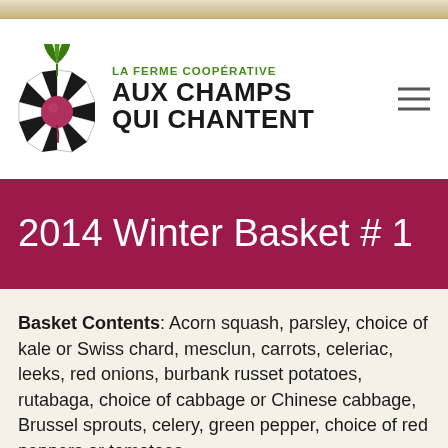[Figure (logo): La Ferme Coopérative Aux Champs Qui Chantent logo with radish/beet illustration and farm text]
2014 Winter Basket # 1
Basket Contents: Acorn squash, parsley, choice of kale or Swiss chard, mesclun, carrots, celeriac, leeks, red onions, burbank russet potatoes, rutabaga, choice of cabbage or Chinese cabbage, Brussel sprouts, celery, green pepper, choice of red peppers or tomatoes